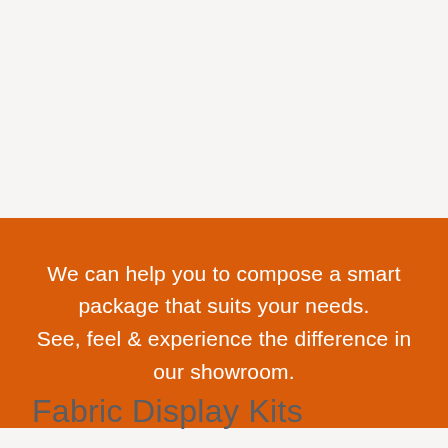We can help you to compose a smart package that suits your needs. See, feel & experience the difference in our showroom.
Fabric Display Kits